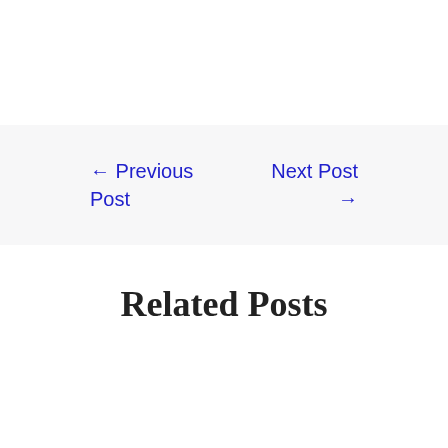← Previous Post
Next Post →
Related Posts